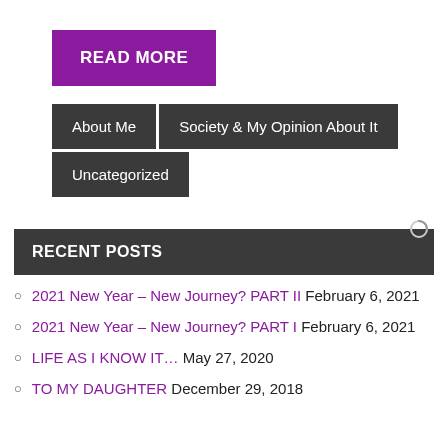READ MORE
About Me
Society & My Opinion About It
Uncategorized
RECENT POSTS
2021 New Year – New Journey? PART II February 6, 2021
2021 New Year – New Journey? PART I February 6, 2021
LIFE AS I KNOW IT… May 27, 2020
TO MY DAUGHTER December 29, 2018